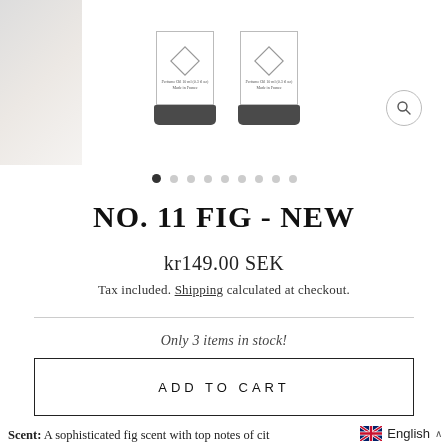[Figure (photo): Two small perfume oil bottles with white labels featuring a diamond pattern, dark charcoal bases, displayed side by side on a white background. A magnify/zoom button is visible in the upper right.]
• • • • • • • • •  (pagination dots, first active)
NO. 11 FIG - NEW
kr149.00 SEK
Tax included. Shipping calculated at checkout.
Only 3 items in stock!
ADD TO CART
Scent: A sophisticated fig scent with top notes of cit